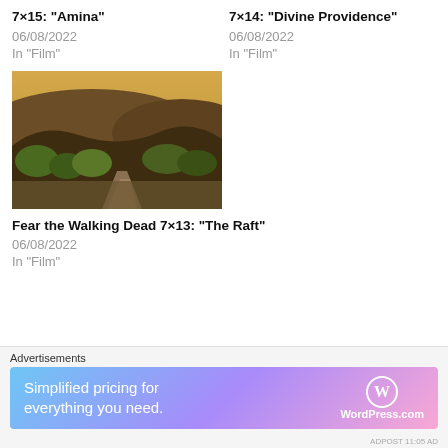7×15: “Amina”
06/08/2022
In “Film”
7×14: “Divine Providence”
06/08/2022
In “Film”
[Figure (photo): Landscape photo showing hills with trees under a warm yellowish sky, with a dirt path in the foreground]
Fear the Walking Dead 7×13: “The Raft”
06/08/2022
In “Film”
Advertisements
[Figure (infographic): WordPress.com advertisement banner: Simplified pricing for everything you need.]